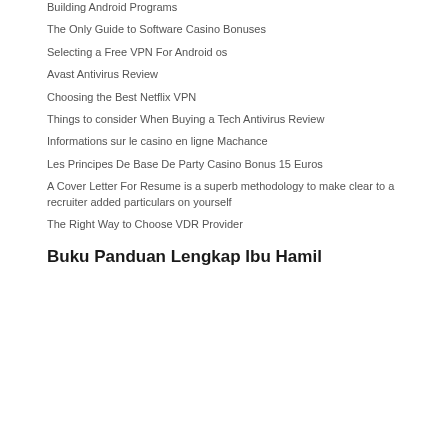Building Android Programs
The Only Guide to Software Casino Bonuses
Selecting a Free VPN For Android os
Avast Antivirus Review
Choosing the Best Netflix VPN
Things to consider When Buying a Tech Antivirus Review
Informations sur le casino en ligne Machance
Les Principes De Base De Party Casino Bonus 15 Euros
A Cover Letter For Resume is a superb methodology to make clear to a recruiter added particulars on yourself
The Right Way to Choose VDR Provider
Buku Panduan Lengkap Ibu Hamil